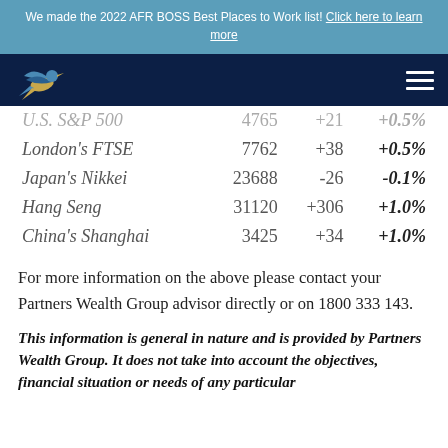We made the 2022 AFR BOSS Best Places to Work list! Click here to learn more
[Figure (logo): Partners Wealth Group bird logo on dark navy navigation bar]
| Index | Value | Change | % Change |
| --- | --- | --- | --- |
| U.S. S&P 500 | 4765 | +21 | +0.5% |
| London's FTSE | 7762 | +38 | +0.5% |
| Japan's Nikkei | 23688 | -26 | -0.1% |
| Hang Seng | 31120 | +306 | +1.0% |
| China's Shanghai | 3425 | +34 | +1.0% |
For more information on the above please contact your Partners Wealth Group advisor directly or on 1800 333 143.
This information is general in nature and is provided by Partners Wealth Group. It does not take into account the objectives, financial situation or needs of any particular